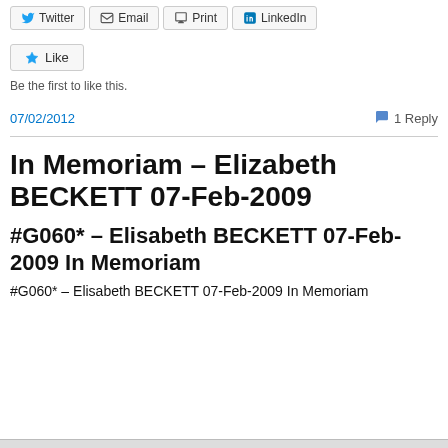[Figure (screenshot): Social share buttons: Twitter, Email, Print, LinkedIn]
[Figure (screenshot): Like button with star icon]
Be the first to like this.
07/02/2012
1 Reply
In Memoriam – Elizabeth BECKETT 07-Feb-2009
#G060* – Elisabeth BECKETT 07-Feb-2009 In Memoriam
#G060* – Elisabeth BECKETT 07-Feb-2009 In Memoriam